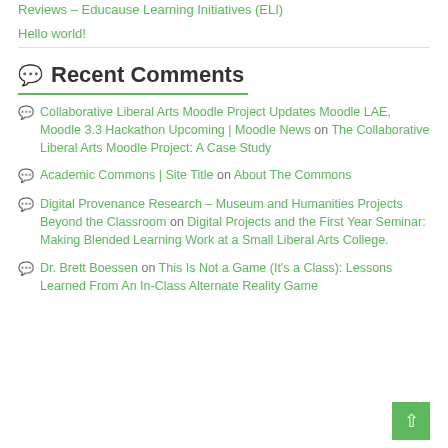Reviews – Educause Learning Initiatives (ELI)
Hello world!
Recent Comments
Collaborative Liberal Arts Moodle Project Updates Moodle LAE, Moodle 3.3 Hackathon Upcoming | Moodle News on The Collaborative Liberal Arts Moodle Project: A Case Study
Academic Commons | Site Title on About The Commons
Digital Provenance Research – Museum and Humanities Projects Beyond the Classroom on Digital Projects and the First Year Seminar: Making Blended Learning Work at a Small Liberal Arts College.
Dr. Brett Boessen on This Is Not a Game (It's a Class): Lessons Learned From An In-Class Alternate Reality Game